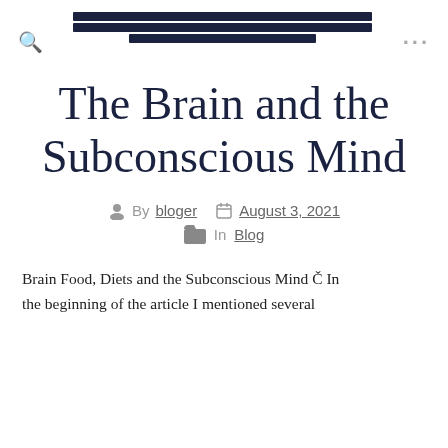Navigation bar with search icon, menu links, and ellipsis menu
The Brain and the Subconscious Mind
By bloger  August 3, 2021  In Blog
Brain Food, Diets and the Subconscious Mind Č In the beginning of the article I mentioned several